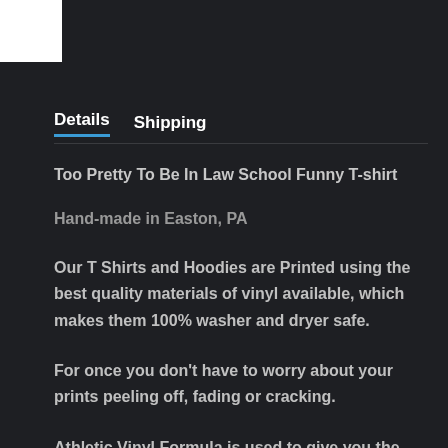[Figure (other): White rectangle logo box in top-left corner on dark background]
Details   Shipping
Too Pretty To Be In Law School Funny T-shirt
Hand-made in Easton, PA
Our T Shirts and Hoodies are Printed using the best quality materials of vinyl available, which makes them 100% washer and dryer safe.
For once you don't have to worry about your prints peeling off, fading or cracking.
Athletic Vinyl Formula is used to give you the most comfort and elasticity while moving and